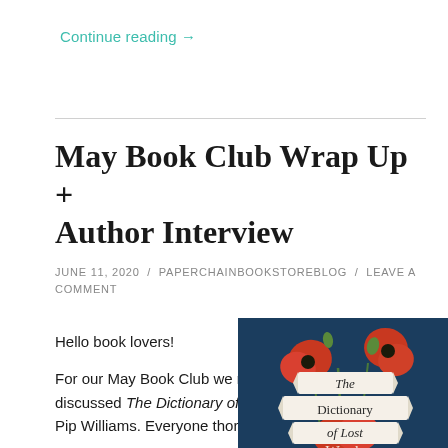Continue reading →
May Book Club Wrap Up + Author Interview
JUNE 11, 2020 / PAPERCHAINBOOKSTOREBLOG / LEAVE A COMMENT
Hello book lovers!
For our May Book Club we read and discussed The Dictionary of Lost Words by Pip Williams. Everyone thoroughly
[Figure (photo): Book cover of The Dictionary of Lost Words showing red poppies on a dark blue background with the title on banner scrolls]